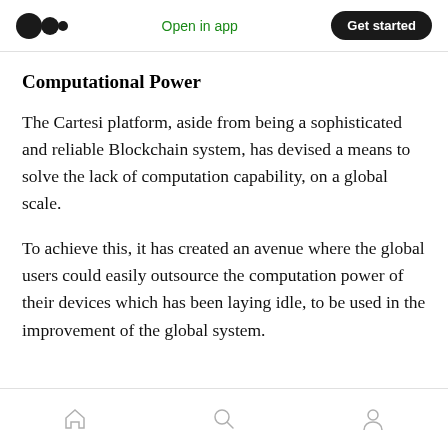Open in app  Get started
Computational Power
The Cartesi platform, aside from being a sophisticated and reliable Blockchain system, has devised a means to solve the lack of computation capability, on a global scale.
To achieve this, it has created an avenue where the global users could easily outsource the computation power of their devices which has been laying idle, to be used in the improvement of the global system.
[home] [search] [profile]